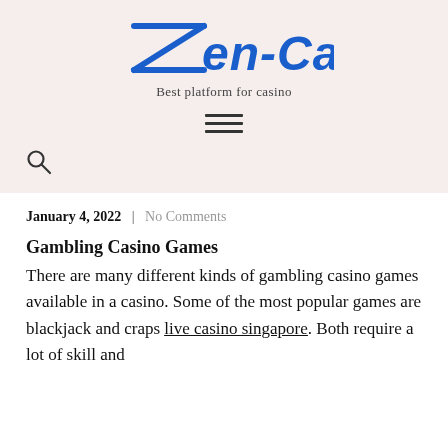Zen-Cart
Best platform for casino
January 4, 2022  |  No Comments
Gambling Casino Games
There are many different kinds of gambling casino games available in a casino. Some of the most popular games are blackjack and craps live casino singapore. Both require a lot of skill and